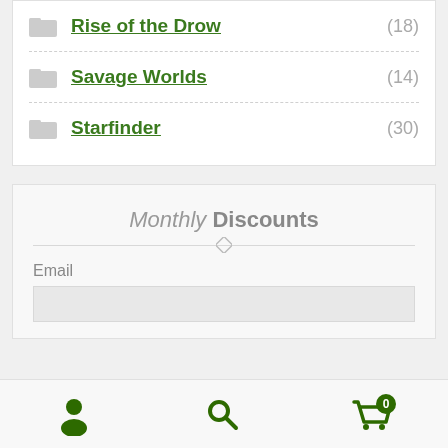Rise of the Drow (18)
Savage Worlds (14)
Starfinder (30)
Monthly Discounts
Email
[Figure (infographic): Bottom navigation bar with user/account icon, search icon, and cart icon with badge showing 0]